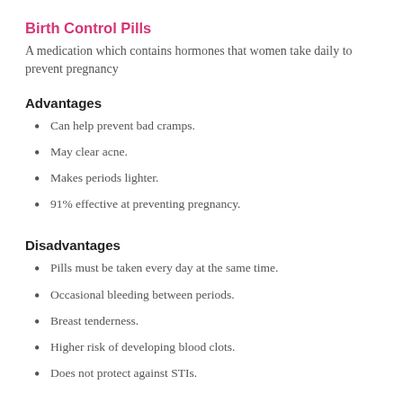Birth Control Pills
A medication which contains hormones that women take daily to prevent pregnancy
Advantages
Can help prevent bad cramps.
May clear acne.
Makes periods lighter.
91% effective at preventing pregnancy.
Disadvantages
Pills must be taken every day at the same time.
Occasional bleeding between periods.
Breast tenderness.
Higher risk of developing blood clots.
Does not protect against STIs.